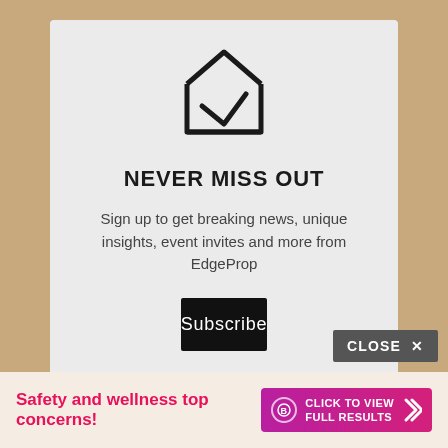[Figure (illustration): Open envelope icon with a checkmark/V shape inside, drawn in black outline on light gray background]
NEVER MISS OUT
Sign up to get breaking news, unique insights, event invites and more from EdgeProp
Subscribe
CLOSE ×
Safety and wellness top concerns!
CLICK TO VIEW FULL RESULTS